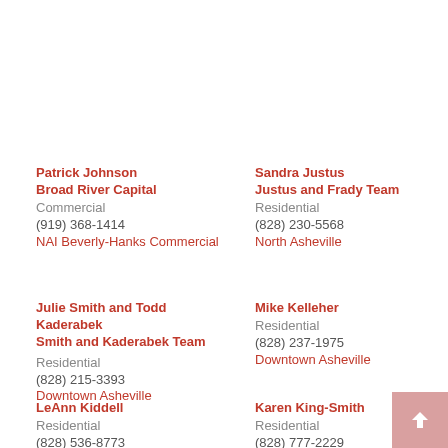Patrick Johnson
Broad River Capital
Commercial
(919) 368-1414
NAI Beverly-Hanks Commercial
Sandra Justus
Justus and Frady Team
Residential
(828) 230-5568
North Asheville
Julie Smith and Todd Kaderabek
Smith and Kaderabek Team
Residential
(828) 215-3393
Downtown Asheville
Mike Kelleher
Residential
(828) 237-1975
Downtown Asheville
LeAnn Kiddell
Residential
(828) 536-8773
Burnsville
Karen King-Smith
Residential
(828) 777-2229
Downtown Asheville